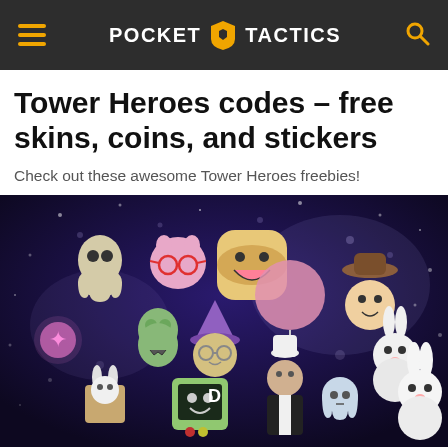POCKET TACTICS
Tower Heroes codes – free skins, coins, and stickers
Check out these awesome Tower Heroes freebies!
[Figure (photo): Group of colorful Tower Heroes game characters on a dark purple starry background. Characters include ghostly figures, a wizard, a large smiling toast character, a rabbit, a cowboy, a robot with a display face, and other whimsical creatures.]